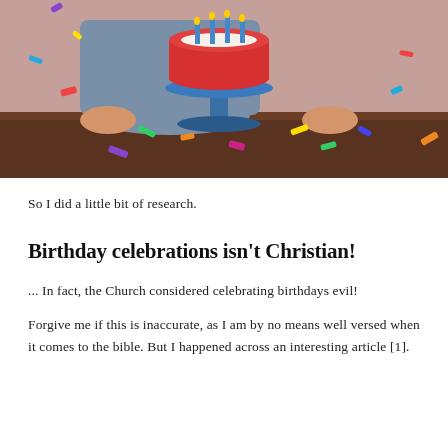[Figure (photo): Child with a red birthday cake on a blue cake stand on a wooden table, with colorful confetti scattered around. Pink background.]
So I did a little bit of research.
Birthday celebrations isn't Christian!
... In fact, the Church considered celebrating birthdays evil!
Forgive me if this is inaccurate, as I am by no means well versed when it comes to the bible. But I happened across an interesting article [1].